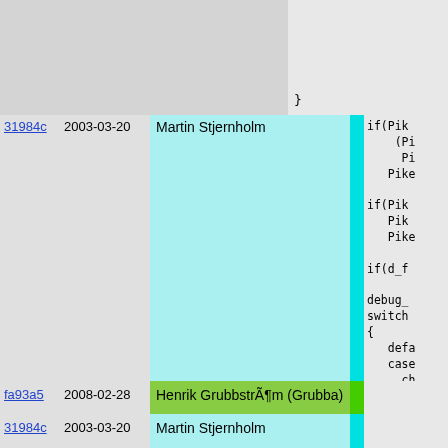[Figure (screenshot): Code blame view showing git blame output with commit hashes, dates, authors highlighted in different colors (cyan for Martin Stjernholm, green for Henrik Grubbström), alongside source code snippets in monospace font]
31984c 2003-03-20 Martin Stjernholm
fa93a5 2008-02-28 Henrik Grubbström (Grubba)
31984c 2003-03-20 Martin Stjernholm